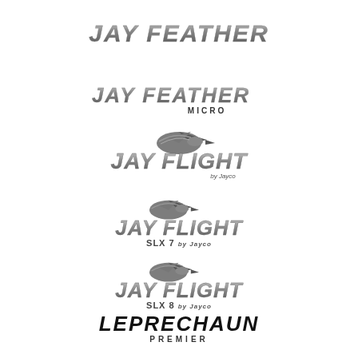[Figure (logo): Jay Feather brand logo in italic metallic style text]
[Figure (logo): Jay Feather Micro brand logo in italic metallic style text with MICRO subtitle]
[Figure (logo): Jay Flight by Jayco brand logo with bird graphic]
[Figure (logo): Jay Flight SLX 7 by Jayco brand logo with bird graphic]
[Figure (logo): Jay Flight SLX 8 by Jayco brand logo with bird graphic]
[Figure (logo): Leprechaun Premier brand logo in bold italic text]
[Figure (logo): Micro Minnie brand logo in metallic italic text]
[Figure (logo): Partial logo at bottom of page (cut off)]